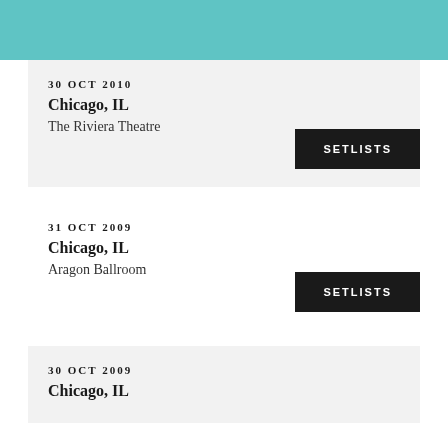30 OCT 2010
Chicago, IL
The Riviera Theatre
SETLISTS
31 OCT 2009
Chicago, IL
Aragon Ballroom
SETLISTS
30 OCT 2009
Chicago, IL